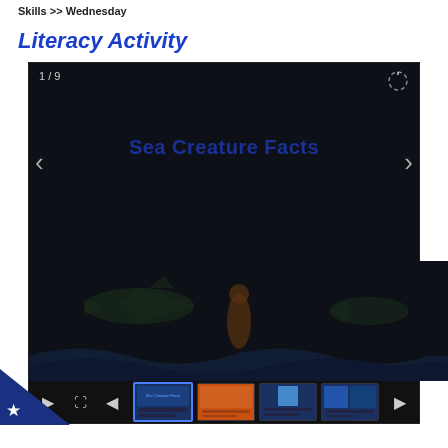Skills >> Wednesday
Literacy Activity
[Figure (screenshot): Slideshow viewer showing slide 1 of 9 titled 'Sea Creature Facts', with dark background, navigation arrows, a thumbnail strip showing 5 slide previews, and playback controls at the bottom.]